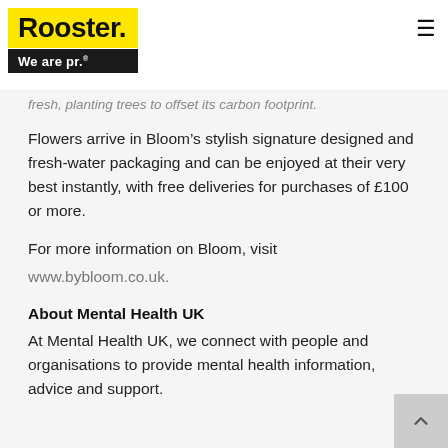Rooster. We are pr.
fresh, planting trees to offset its carbon footprint.
Flowers arrive in Bloom’s stylish signature designed and fresh-water packaging and can be enjoyed at their very best instantly, with free deliveries for purchases of £100 or more.
For more information on Bloom, visit www.bybloom.co.uk.
About Mental Health UK
At Mental Health UK, we connect with people and organisations to provide mental health information, advice and support.